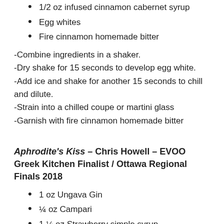1/2 oz infused cinnamon cabernet syrup
Egg whites
Fire cinnamon homemade bitter
-Combine ingredients in a shaker.
-Dry shake for 15 seconds to develop egg white.
-Add ice and shake for another 15 seconds to chill and dilute.
-Strain into a chilled coupe or martini glass
-Garnish with fire cinnamon homemade bitter
Aphrodite's Kiss – Chris Howell – EVOO Greek Kitchen Finalist / Ottawa Regional Finals 2018
1 oz Ungava Gin
¼ oz Campari
1 ¼ oz Strawberry simple syrup